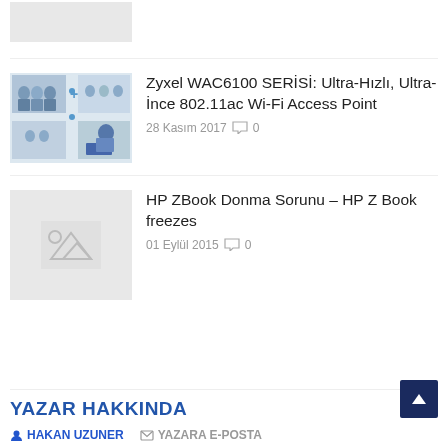[Figure (photo): Partial thumbnail image at top of page, cropped, light grey rectangle]
[Figure (photo): Zyxel WAC6100 article thumbnail showing office meeting and networking diagram]
Zyxel WAC6100 SERİSİ: Ultra-Hızlı, Ultra-İnce 802.11ac Wi-Fi Access Point
28 Kasım 2017  0
[Figure (photo): Placeholder image thumbnail for HP ZBook article]
HP ZBook Donma Sorunu – HP Z Book freezes
01 Eylül 2015  0
YAZAR HAKKINDA
HAKAN UZUNER   YAZARA E-POSTA